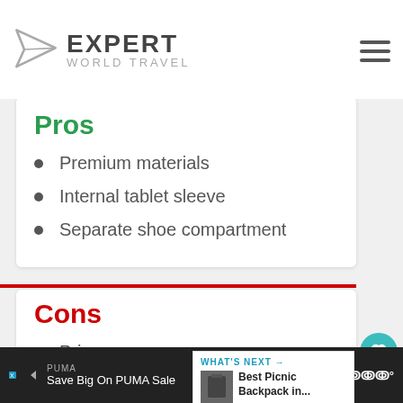Expert World Travel
Pros
Premium materials
Internal tablet sleeve
Separate shoe compartment
Cons
Pricey
No luggage strap